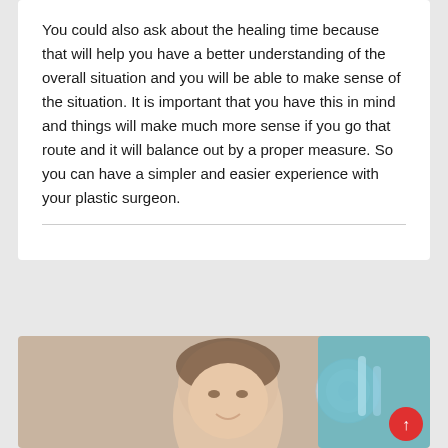You could also ask about the healing time because that will help you have a better understanding of the overall situation and you will be able to make sense of the situation. It is important that you have this in mind and things will make much more sense if you go that route and it will balance out by a proper measure. So you can have a simpler and easier experience with your plastic surgeon.
[Figure (photo): Partially visible photo at bottom of page showing a woman's face and medical/dental instruments against a teal background]